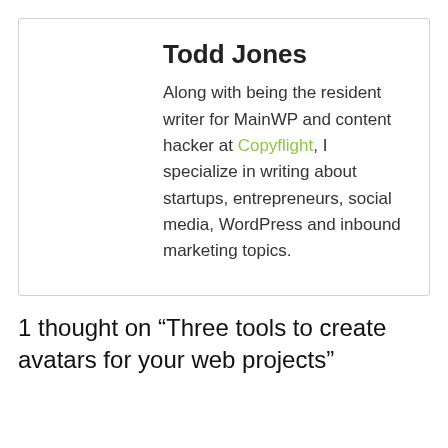Todd Jones
Along with being the resident writer for MainWP and content hacker at Copyflight, I specialize in writing about startups, entrepreneurs, social media, WordPress and inbound marketing topics.
1 thought on “Three tools to create avatars for your web projects”